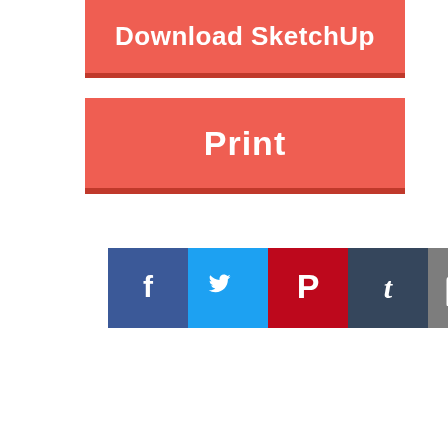[Figure (screenshot): Red button labeled 'Download SketchUp' partially cropped at top with a semi-transparent grey-pink SketchUp logo overlay on the right side]
[Figure (screenshot): Red button labeled 'Print' with dark red bottom border]
[Figure (infographic): Row of social sharing icons: Facebook (blue), Twitter (light blue), Pinterest (red), Tumblr (dark blue), Email (grey), More/Plus (orange)]